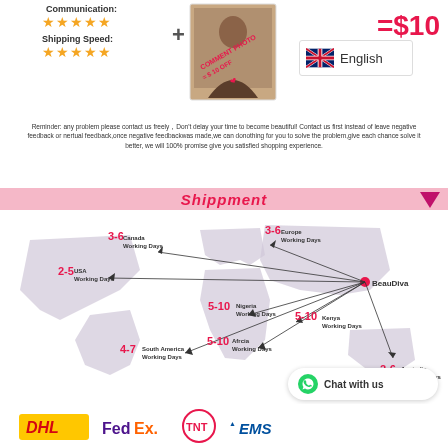Communication: ★★★★★
Shipping Speed: ★★★★★
[Figure (photo): Woman selfie photo with diagonal text overlay: COMMENT PHOTO = $ 10 OFF with heart icon]
English (UK flag)
= $10
Reminder: any problem please contact us freely, Don't delay your time to become beautiful! Contact us first instead of leave negative feedback or nertual feedback,once negative feedbackwas made,we can donothing for you to solve the problem,give each chance solve it better, we will 100% promise give you satisfied shopping experience.
Shippment
[Figure (map): World map showing shipping routes from BeauDiva origin to: Canada 3-6 Working Days, Europe 3-6 Working Days, USA 2-5 Working Days, Nigeria 5-10 Working Days, Kenya 5-10 Working Days, South America 4-7 Working Days, Africa 5-10 Working Days, Australia 2-6 Working Days]
Chat with us
[Figure (logo): Shipping courier logos: DHL, FedEx, TNT, EMS]